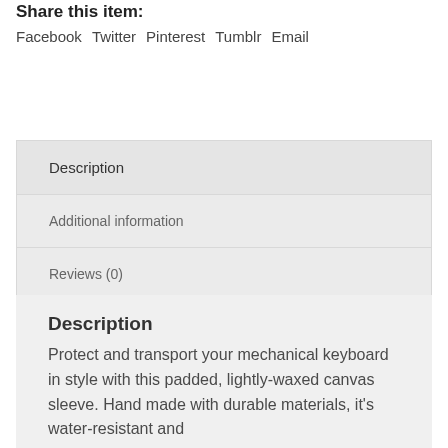Share this item:
Facebook   Twitter   Pinterest   Tumblr   Email
Description
Additional information
Reviews (0)
Description
Protect and transport your mechanical keyboard in style with this padded, lightly-waxed canvas sleeve. Hand made with durable materials, it's water-resistant and